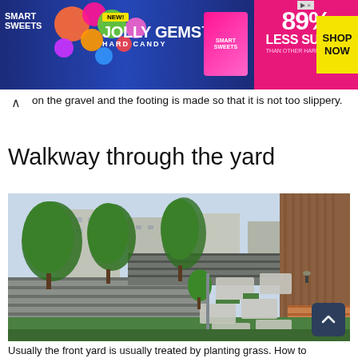[Figure (photo): Advertisement banner for SmartSweets Jolly Gems Hard Candy — 89% Less Sugar than other hard candies, Shop Now button]
on the gravel and the footing is made so that it is not too slippery.
Walkway through the yard
[Figure (photo): Photograph of a Japanese residential yard with a stepping stone walkway alternating with grass patches, grey horizontal fence panels, green trees, and a wooden deck on the right side of a house]
Usually the front yard is usually treated by planting grass. How to